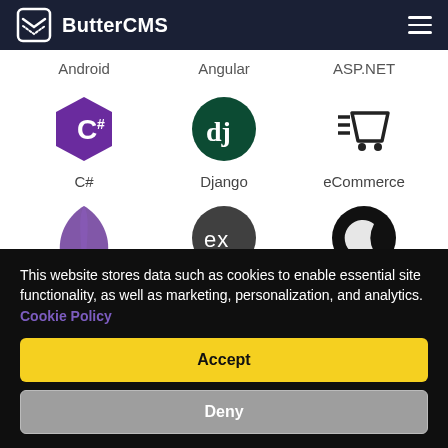ButterCMS
[Figure (screenshot): Navigation bar with ButterCMS logo and hamburger menu]
Android
Angular
ASP.NET
[Figure (logo): C# logo - purple hexagon with C# text]
C#
[Figure (logo): Django logo - green circle with 'dj' text]
Django
[Figure (illustration): eCommerce shopping cart icon]
eCommerce
[Figure (logo): Elixir logo - purple drop shape]
[Figure (logo): Express.js logo - dark circle with 'ex' text]
[Figure (logo): Dark circle with crescent moon icon]
This website stores data such as cookies to enable essential site functionality, as well as marketing, personalization, and analytics. Cookie Policy
Accept
Deny